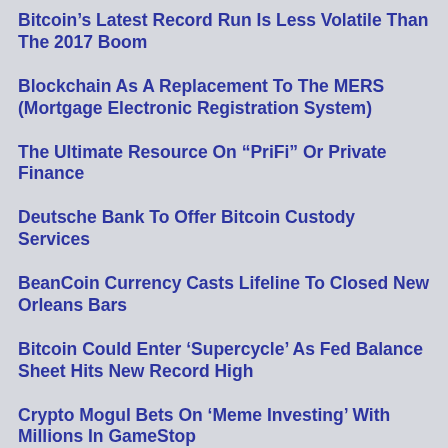Bitcoin’s Latest Record Run Is Less Volatile Than The 2017 Boom
Blockchain As A Replacement To The MERS (Mortgage Electronic Registration System)
The Ultimate Resource On “PriFi” Or Private Finance
Deutsche Bank To Offer Bitcoin Custody Services
BeanCoin Currency Casts Lifeline To Closed New Orleans Bars
Bitcoin Could Enter ‘Supercycle’ As Fed Balance Sheet Hits New Record High
Crypto Mogul Bets On ‘Meme Investing’ With Millions In GameStop
Iran’s Central Banks Acquires Bitcoin Even Though